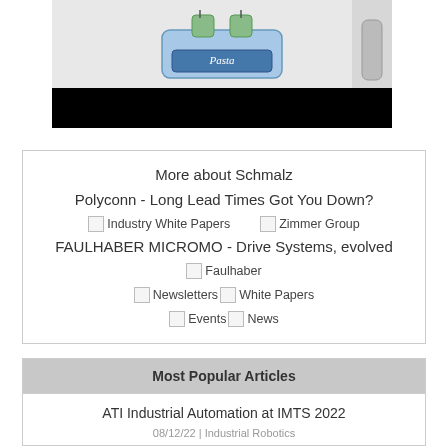[Figure (illustration): Partial illustration of a pasta container with two dispensers on top, gray background. Below it is a solid black bar.]
More about Schmalz
Polyconn - Long Lead Times Got You Down?
[Industry White Papers] [Zimmer Group]
FAULHABER MICROMO - Drive Systems, evolved
[Faulhaber]
[Newsletters][White Papers]
[Events][News]
Most Popular Articles
ATI Industrial Automation at IMTS 2022
08/12/22 | Industrial Robotics